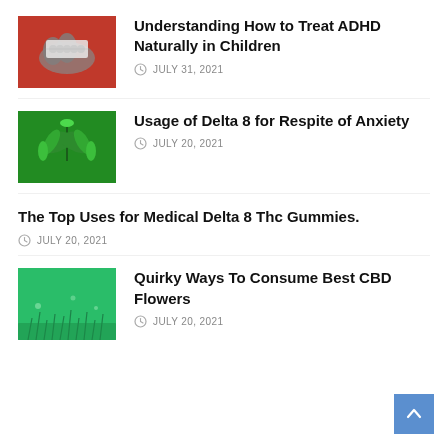[Figure (photo): Hand holding pills against a red background]
Understanding How to Treat ADHD Naturally in Children
JULY 31, 2021
[Figure (photo): Cannabis leaf on green background]
Usage of Delta 8 for Respite of Anxiety
JULY 20, 2021
The Top Uses for Medical Delta 8 Thc Gummies.
JULY 20, 2021
[Figure (photo): Green grass close-up]
Quirky Ways To Consume Best CBD Flowers
JULY 20, 2021